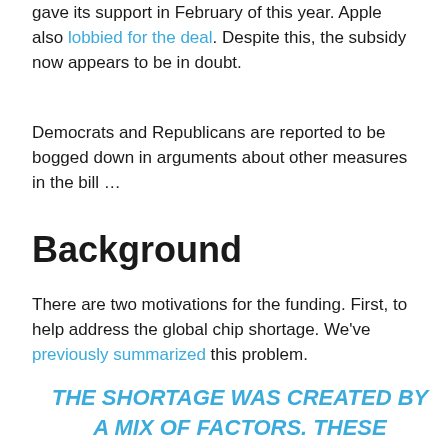gave its support in February of this year. Apple also lobbied for the deal. Despite this, the subsidy now appears to be in doubt.
Democrats and Republicans are reported to be bogged down in arguments about other measures in the bill …
Background
There are two motivations for the funding. First, to help address the global chip shortage. We've previously summarized this problem.
THE SHORTAGE WAS CREATED BY A MIX OF FACTORS. THESE INCLUDE INCREASED DEMAND FOR TECHNOLOGY DURING